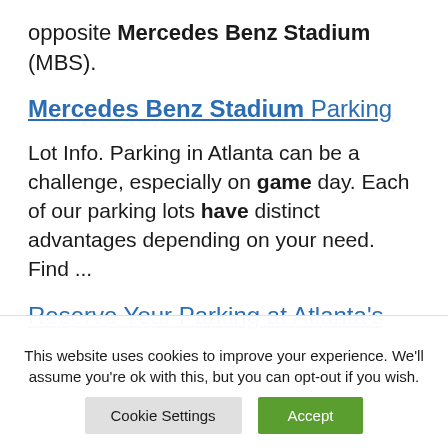opposite Mercedes Benz Stadium (MBS).
Mercedes Benz Stadium Parking
Lot Info. Parking in Atlanta can be a challenge, especially on game day. Each of our parking lots have distinct advantages depending on your need. Find ...
Reserve Your Parking at Atlanta's
This website uses cookies to improve your experience. We'll assume you're ok with this, but you can opt-out if you wish.